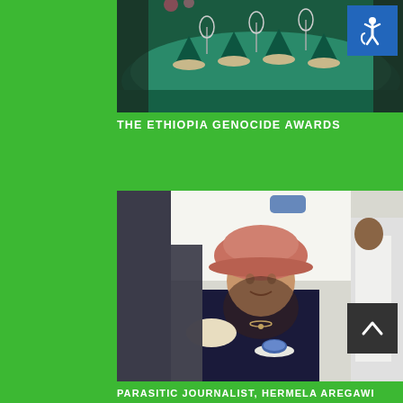[Figure (photo): Top portion of a photo showing a banquet/dining table with dark teal tablecloth, folded green napkins, wine glasses, and plates. People partially visible.]
THE ETHIOPIA GENOCIDE AWARDS
[Figure (photo): Photo of a woman wearing a pink/mauve hat with dark band, dark navy top, looking down at a small cup and saucer. Other people visible in background at what appears to be a social gathering.]
PARASITIC JOURNALIST, HERMELA AREGAWI IS DISGRACEFUL
[Figure (photo): Partial view of a book/poster cover titled 'THE ABIY AHMED GENOCIDE PROJECT: Bomb Tigray & Oromia' with 'WAR CRIMI...' visible on right side. Shows a man in military beret.]